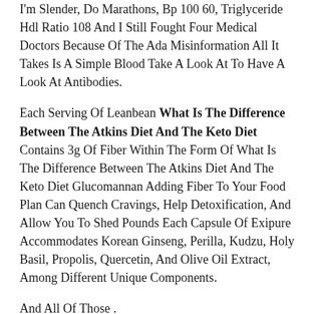I'm Slender, Do Marathons, Bp 100 60, Triglyceride Hdl Ratio 108 And I Still Fought Four Medical Doctors Because Of The Ada Misinformation All It Takes Is A Simple Blood Take A Look At To Have A Look At Antibodies.
Each Serving Of Leanbean What Is The Difference Between The Atkins Diet And The Keto Diet Contains 3g Of Fiber Within The Form Of What Is The Difference Between The Atkins Diet And The Keto Diet Glucomannan Adding Fiber To Your Food Plan Can Quench Cravings, Help Detoxification, And Allow You To Shed Pounds Each Capsule Of Exipure Accommodates Korean Ginseng, Perilla, Kudzu, Holy Basil, Propolis, Quercetin, And Olive Oil Extract, Among Different Unique Components.
And All Of Those .
Keto Diet Mastery Your